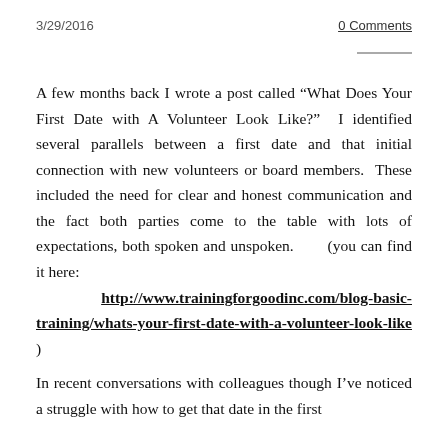3/29/2016    0 Comments
A few months back I wrote a post called “What Does Your First Date with A Volunteer Look Like?”  I identified several parallels between a first date and that initial connection with new volunteers or board members.  These included the need for clear and honest communication and the fact both parties come to the table with lots of expectations, both spoken and unspoken.       (you can find it here:           http://www.trainingforgoodinc.com/blog-basic-training/whats-your-first-date-with-a-volunteer-look-like )
In recent conversations with colleagues though I’ve noticed a struggle with how to get that date in the first